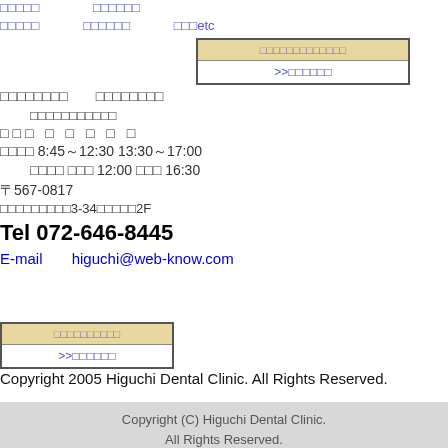□□□□□　　□□□□□□　　□□□etc
□□□□□□□□　□□□□□□□□
□□□□□□□□□□□
[Figure (other): Navigation box with Japanese text, tan/gold header and white body with link]
□□□ □ □ □ □ □
□□□□ 8:45～12:30 13:30～17:00
□□□□ □□□ 12:00 □□□ 16:30
〒567-0817
□□□□□□□□□3-34□□□□□2F
Tel 072-646-8445
E-mail　　higuchi@web-know.com
[Figure (other): Navigation box with Japanese text, tan/gold header and white body with link]
Copyright 2005 Higuchi Dental Clinic. All Rights Reserved.
Copyright (C) Higuchi Dental Clinic.
All Rights Reserved.